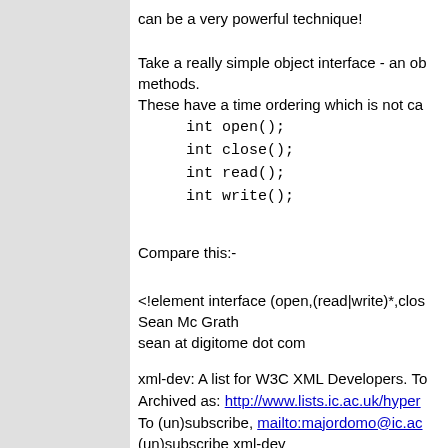can be a very powerful technique!
Take a really simple object interface - an ob
methods.
These have a time ordering which is not ca
    int open();
    int close();
    int read();
    int write();
Compare this:-
<!element interface (open,(read|write)*,clos
Sean Mc Grath
sean at digitome dot com
xml-dev: A list for W3C XML Developers. To
Archived as: http://www.lists.ic.ac.uk/hyper
To (un)subscribe, mailto:majordomo@ic.ac
(un)subscribe xml-dev
To subscribe to the digests, mailto:majordo
subscribe xml-dev-digest